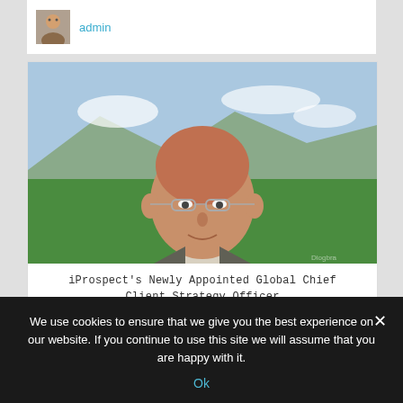admin
[Figure (photo): Portrait photo of a bald man wearing glasses and a light grey blazer over a white shirt, outdoors with green field and mountains in background. Watermark visible bottom right.]
iProspect's Newly Appointed Global Chief Client Strategy Officer Identifies With Batman
We use cookies to ensure that we give you the best experience on our website. If you continue to use this site we will assume that you are happy with it.
Ok